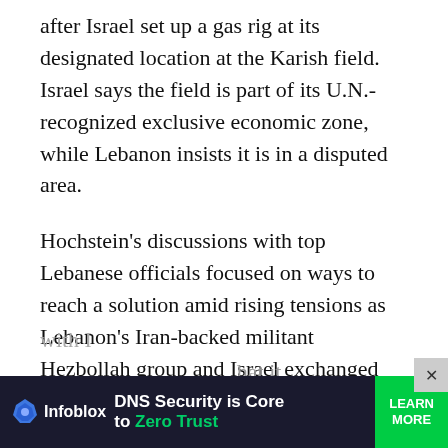after Israel set up a gas rig at its designated location at the Karish field. Israel says the field is part of its U.N.-recognized exclusive economic zone, while Lebanon insists it is in a disputed area.
Hochstein's discussions with top Lebanese officials focused on ways to reach a solution amid rising tensions as Lebanon's Iran-backed militant Hezbollah group and Israel exchanged threats. Hezbollah's leader last week warned he would strike the gas rig at Karish if drilling starts before an agreement is reached. The heavily armed Hezbollah, which has fought several wars with [dimmed] that it would
[Figure (infographic): Advertisement banner for Infoblox: 'DNS Security is Core to Zero Trust' with a green LEARN MORE button on dark background]